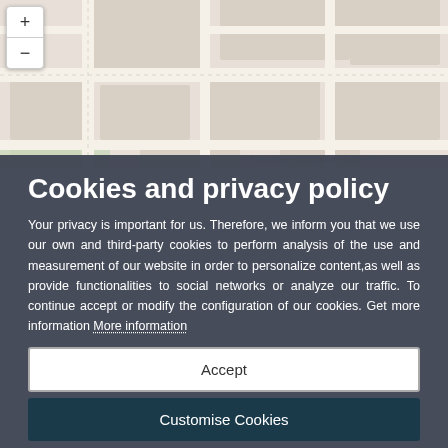[Figure (map): Street map background showing city blocks and roads in beige/tan tones with map pin markers, with zoom in/out controls in top-left corner]
Cookies and privacy policy
Your privacy is important for us. Therefore, we inform you that we use our own and third-party cookies to perform analysis of the use and measurement of our website in order to personalize content,as well as provide functionalities to social networks or analyze our traffic. To continue accept or modify the configuration of our cookies. Get more information More information
Accept
Customise Cookies
Faculty of Physics